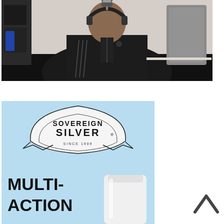[Figure (photo): A person sitting at a desk wearing a dark hoodie with headphones on, in front of a microphone. The room has various items in the background including speakers and bags. The lower portion of the image is a black bar.]
[Figure (logo): Sovereign Silver brand advertisement on a light blue background. Shows the Sovereign Silver logo (an arch-shaped banner with shield design, text reading SOVEREIGN SILVER SINCE 1909) and bold black text reading MULTI-ACTION with a partial view of a white product container on the right side.]